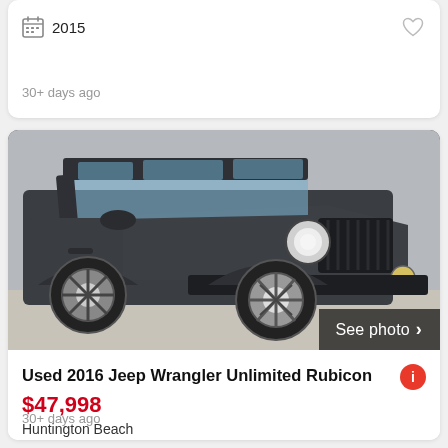2015
30+ days ago
[Figure (photo): Dark gray/charcoal Jeep Wrangler Unlimited Rubicon 2016, front three-quarter view, photographed outdoors. A 'See photo ›' overlay appears in the bottom-right corner of the image.]
Used 2016 Jeep Wrangler Unlimited Rubicon
$47,998
Huntington Beach
2016
30+ days ago